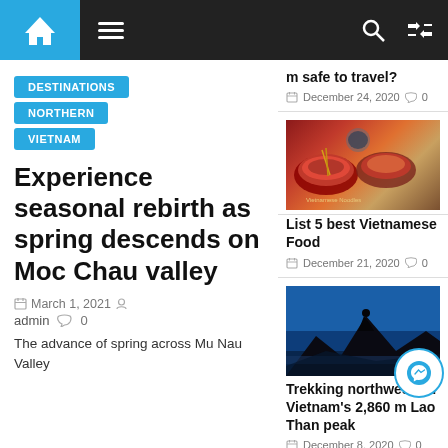Navigation bar with home icon, hamburger menu, search and shuffle icons
DESTINATIONS
NORTHERN
VIETNAM
Experience seasonal rebirth as spring descends on Moc Chau valley
March 1, 2021  admin  0
The advance of spring across Mu Nau Valley
m safe to travel?  December 24, 2020  0
[Figure (photo): Vietnamese food bowls with noodles and broth]
List 5 best Vietnamese Food  December 21, 2020  0
[Figure (photo): Silhouette of person on mountain peak against blue sky]
Trekking northwestern Vietnam's 2,860 m Lao Than peak  December 8, 2020  0